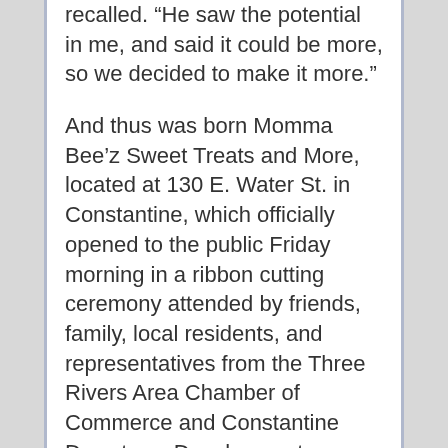recalled. “He saw the potential in me, and said it could be more, so we decided to make it more.”
And thus was born Momma Bee’z Sweet Treats and More, located at 130 E. Water St. in Constantine, which officially opened to the public Friday morning in a ribbon cutting ceremony attended by friends, family, local residents, and representatives from the Three Rivers Area Chamber of Commerce and Constantine Downtown Development Authority.
The shop is a combination ice cream shop, bake shop and